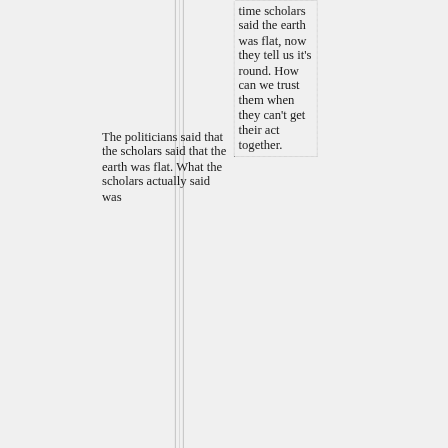time scholars said the earth was flat, now they tell us it's round. How can we trust them when they can't get their act together.
The politicians said that the scholars said that the earth was flat. What the scholars actually said was